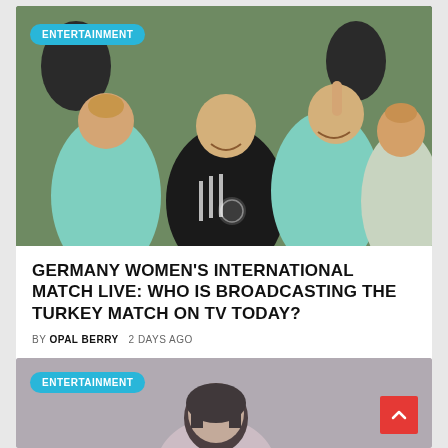[Figure (photo): Photo of Germany women's football team players and coach laughing together during training, wearing black Adidas gear and mint/teal jerseys, with an ENTERTAINMENT category badge overlay]
GERMANY WOMEN'S INTERNATIONAL MATCH LIVE: WHO IS BROADCASTING THE TURKEY MATCH ON TV TODAY?
BY OPAL BERRY   2 DAYS AGO
[Figure (photo): Partial photo of a woman with dark hair, with an ENTERTAINMENT category badge overlay, partially visible at the bottom of the page]